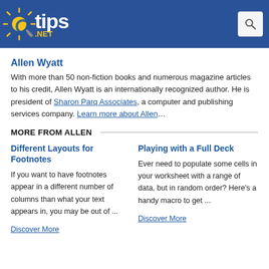tips.NET
Allen Wyatt
With more than 50 non-fiction books and numerous magazine articles to his credit, Allen Wyatt is an internationally recognized author. He is president of Sharon Parq Associates, a computer and publishing services company. Learn more about Allen…
MORE FROM ALLEN
Different Layouts for Footnotes
If you want to have footnotes appear in a different number of columns than what your text appears in, you may be out of ...
Discover More
Playing with a Full Deck
Ever need to populate some cells in your worksheet with a range of data, but in random order? Here's a handy macro to get ...
Discover More